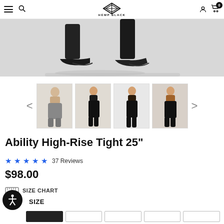Hemp Black — navigation bar with hamburger menu, search, logo, user icon, cart (0)
[Figure (photo): Close-up product photo showing lower legs and feet in black athletic tights and black sneakers on a light grey background]
[Figure (photo): Thumbnail carousel with 4 product images: (1) woman in grey high-rise tights front view, (2) woman in black tights side view, (3) woman in black tights front view, (4) woman in black tights rear side view with brown crop top]
Ability High-Rise Tight 25"
★★★★★ 37 Reviews
$98.00
SIZE CHART
SIZE